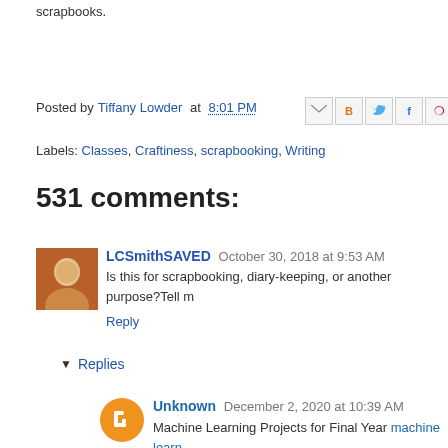scrapbooks.
Posted by Tiffany Lowder at 8:01 PM
Labels: Classes, Craftiness, scrapbooking, Writing
531 comments:
[Figure (photo): User avatar thumbnail - small photo of person in red/brown tones]
LCSmithSAVED October 30, 2018 at 9:53 AM
Is this for scrapbooking, diary-keeping, or another purpose?Tell m
Reply
▾ Replies
[Figure (logo): Orange circle Blogger icon for Unknown user]
Unknown December 2, 2020 at 10:39 AM
Machine Learning Projects for Final Year machine learn

Deep Learning Projects assist final year students with while allowing you to investigate an intriguing point. Fu for final year into your portfolio, making it simpler to get Deep Learning Projects for Final Year even arrange a m